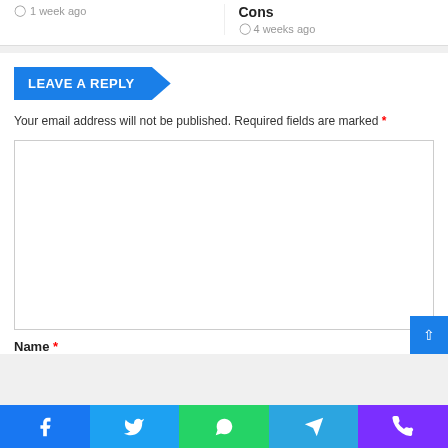1 week ago
Cons
4 weeks ago
LEAVE A REPLY
Your email address will not be published. Required fields are marked *
Name *
[Figure (screenshot): Social sharing bar with Facebook, Twitter, WhatsApp, Telegram, and Phone icons]